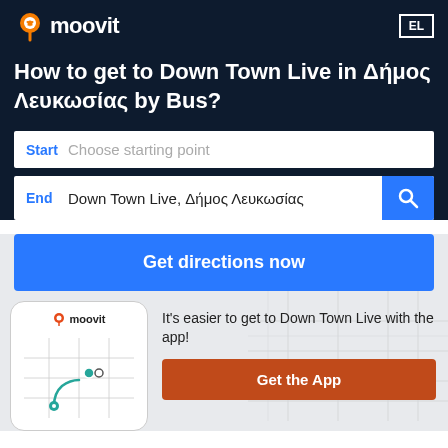[Figure (logo): Moovit logo with orange pin icon and white text on dark background]
EL
How to get to Down Town Live in Δήμος Λευκωσίας by Bus?
Start  Choose starting point
End  Down Town Live, Δήμος Λευκωσίας
Get directions now
[Figure (screenshot): Moovit phone app mockup showing route on map]
It's easier to get to Down Town Live with the app!
Get the App